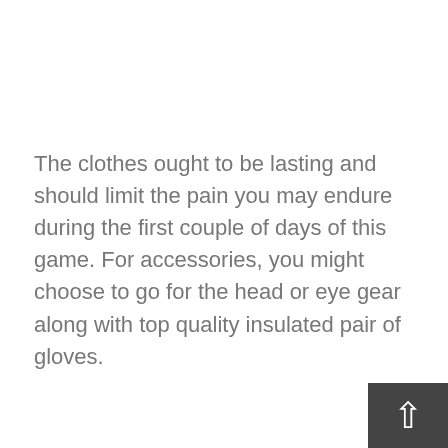The clothes ought to be lasting and should limit the pain you may endure during the first couple of days of this game. For accessories, you might choose to go for the head or eye gear along with top quality insulated pair of gloves.
[Figure (infographic): Social share buttons: Facebook (blue circle with f), Google+ (red circle with g+), Twitter (blue circle with bird icon), and a dark plus button]
ese are a few strategies for assisting you to get the ideal set of ice skating equipment. Hopefully, you can play nicely wearing your favorite ice skating equipment.
Would you like to buy ice hockey skating? Not all kinds of skates will be good for beginners. For this reason, you